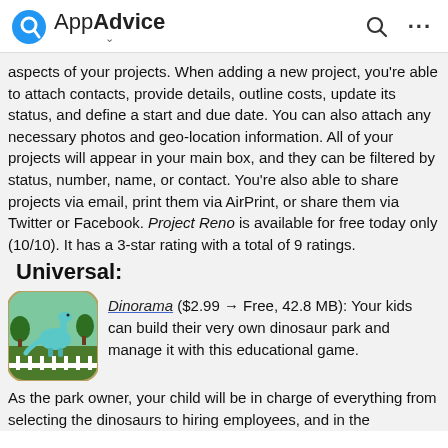AppAdvice
aspects of your projects. When adding a new project, you're able to attach contacts, provide details, outline costs, update its status, and define a start and due date. You can also attach any necessary photos and geo-location information. All of your projects will appear in your main box, and they can be filtered by status, number, name, or contact. You're also able to share projects via email, print them via AirPrint, or share them via Twitter or Facebook. Project Reno is available for free today only (10/10). It has a 3-star rating with a total of 9 ratings.
Universal:
[Figure (illustration): App icon for Dinorama — a green dinosaur (brachiosaurus) standing in a park scene with trees and a white fence at the bottom, on a green/grass background with rounded corners.]
Dinorama ($2.99 → Free, 42.8 MB): Your kids can build their very own dinosaur park and manage it with this educational game.
As the park owner, your child will be in charge of everything from selecting the dinosaurs to hiring employees, and in the